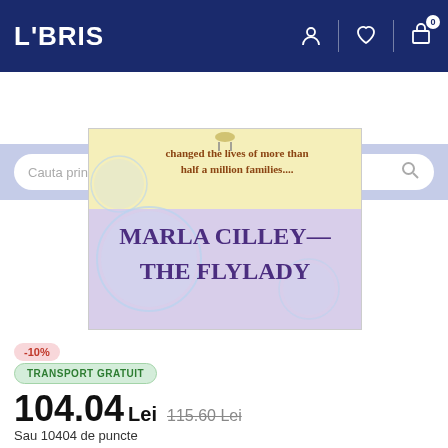LIBRIS
Cauta printre rafturile noastre
[Figure (illustration): Book cover showing 'Marla Cilley - The FlyLady' with text 'changed the lives of more than half a million families...' on a background with bubbles]
-10%
TRANSPORT GRATUIT
104.04 Lei  115.60 Lei
Sau 10404 de puncte